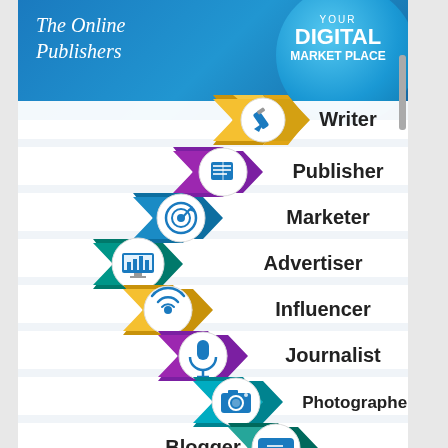[Figure (infographic): The Online Publishers - Your Digital Market Place infographic listing roles: Writer, Publisher, Marketer, Advertiser, Influencer, Journalist, Photographer, Blogger. Each role shown with a colored 3D chevron arrow and circular icon in a zigzag staircase layout on a blue header background.]